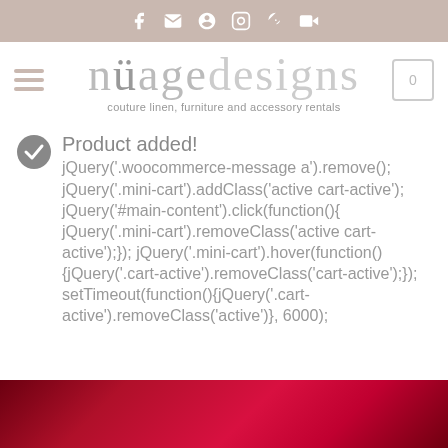Social media icons bar (Facebook, Email, Pinterest, Instagram, RSS, YouTube)
[Figure (logo): Nuage Designs logo with tagline 'couture linen, furniture and accessory rentals']
Product added! jQuery('.woocommerce-message a').remove(); jQuery('.mini-cart').addClass('active cart-active'); jQuery('#main-content').click(function(){ jQuery('.mini-cart').removeClass('active cart-active');}); jQuery('.mini-cart').hover(function(){jQuery('.cart-active').removeClass('cart-active');}); setTimeout(function(){jQuery('.cart-active').removeClass('active')}, 6000);
[Figure (photo): Red fabric/linen product photo at bottom of page]